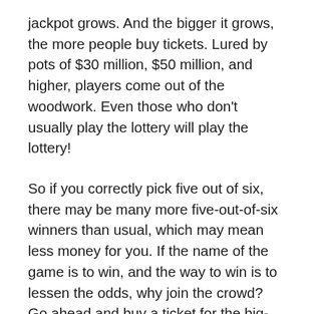jackpot grows. And the bigger it grows, the more people buy tickets. Lured by pots of $30 million, $50 million, and higher, players come out of the woodwork. Even those who don't usually play the lottery will play the lottery!
So if you correctly pick five out of six, there may be many more five-out-of-six winners than usual, which may mean less money for you. If the name of the game is to win, and the way to win is to lessen the odds, why join the crowd? Go ahead and buy a ticket for the big-money drawing. But smart players quietly prefer the “small” jackpots, those of only $2 million, $4.5 million, or $6 million. This is called maximizing the value of your prize. If you think about it, those “small” jackpots would be pretty nice prizes to win, too.